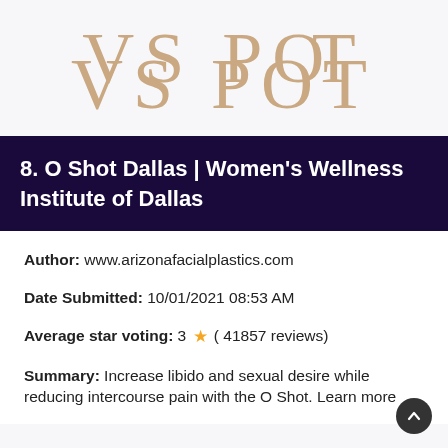[Figure (logo): VSPOT logo in tan/beige serif letters on light gray background]
8. O Shot Dallas | Women's Wellness Institute of Dallas
Author: www.arizonafacialplastics.com
Date Submitted: 10/01/2021 08:53 AM
Average star voting: 3 ★ ( 41857 reviews)
Summary: Increase libido and sexual desire while reducing intercourse pain with the O Shot. Learn more